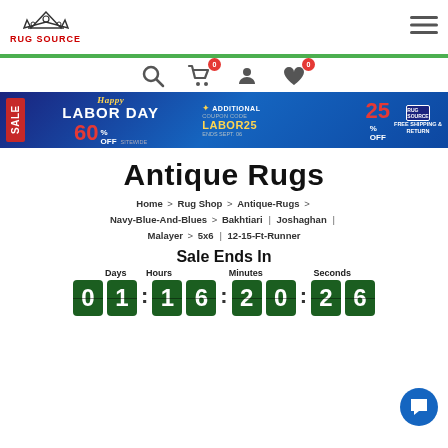[Figure (logo): Rug Source logo with crown icon and red text]
[Figure (infographic): Navigation icons: search, cart (badge 0), account, wishlist (badge 0)]
[Figure (infographic): Labor Day Sale banner: 60% off sitewide, additional 25% off with coupon code LABOR25, ends Sept 06, free shipping and return]
Antique Rugs
Home > Rug Shop > Antique-Rugs > Navy-Blue-And-Blues > Bakhtiari | Joshaghan | Malayer > 5x6 | 12-15-Ft-Runner
Sale Ends In
Days: 01  Hours: 16  Minutes: 20  Seconds: 26